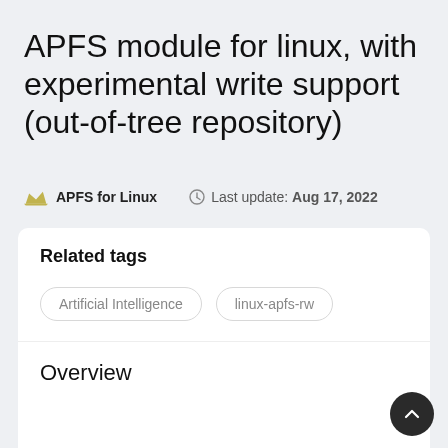APFS module for linux, with experimental write support (out-of-tree repository)
APFS for Linux   Last update: Aug 17, 2022
Related tags
Artificial Intelligence
linux-apfs-rw
Overview